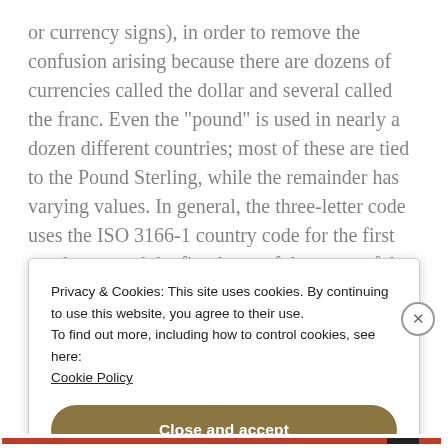or currency signs), in order to remove the confusion arising because there are dozens of currencies called the dollar and several called the franc. Even the "pound" is used in nearly a dozen different countries; most of these are tied to the Pound Sterling, while the remainder has varying values. In general, the three-letter code uses the ISO 3166-1 country code for the first two letters and the first letter of the name of the currency (D for dollar, for instance) as the third letter.
Privacy & Cookies: This site uses cookies. By continuing to use this website, you agree to their use.
To find out more, including how to control cookies, see here: Cookie Policy
Close and accept